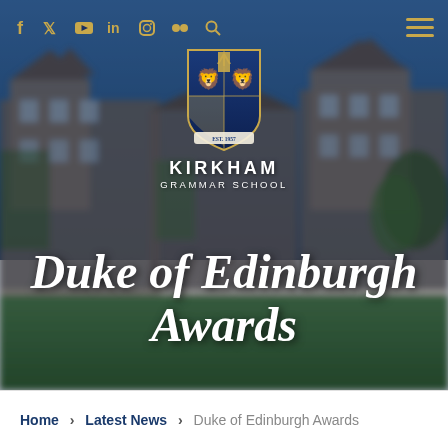[Figure (photo): Hero banner image of Kirkham Grammar School building with a blurred background showing a stone building with lawn in foreground. Contains navigation bar with social media icons, school crest/logo, and bold page title text overlay.]
Duke of Edinburgh Awards
Home > Latest News > Duke of Edinburgh Awards